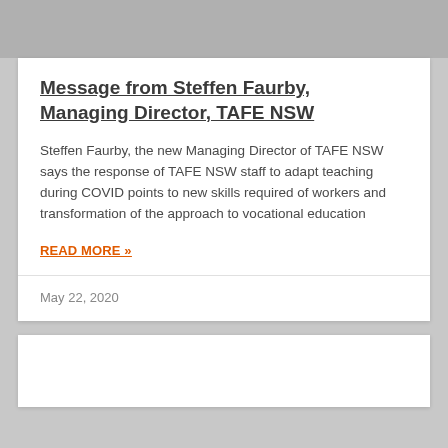Message from Steffen Faurby, Managing Director, TAFE NSW
Steffen Faurby, the new Managing Director of TAFE NSW says the response of TAFE NSW staff to adapt teaching during COVID points to new skills required of workers and transformation of the approach to vocational education
READ MORE »
May 22, 2020